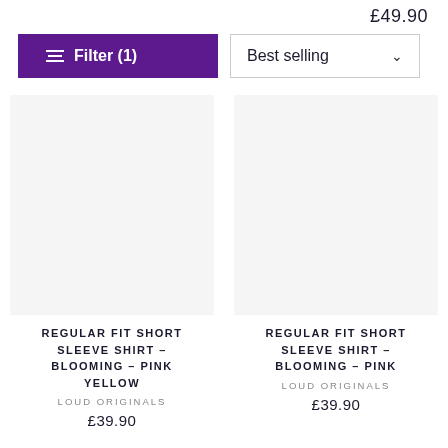£49.90
Filter (1)
Best selling
[Figure (other): Empty white product image placeholder for left product card]
REGULAR FIT SHORT SLEEVE SHIRT - BLOOMING - PINK YELLOW
LOUD ORIGINALS
£39.90
[Figure (other): Empty white product image placeholder for right product card]
REGULAR FIT SHORT SLEEVE SHIRT - BLOOMING - PINK
LOUD ORIGINALS
£39.90